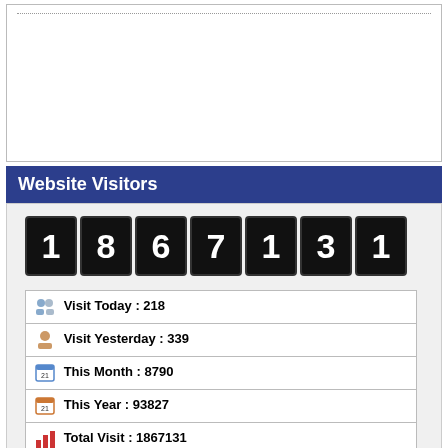[Figure (other): Dotted line at top of a bordered box area]
Website Visitors
[Figure (other): Odometer-style digit counter showing 1867131]
| Visit Today : 218 |
| Visit Yesterday : 339 |
| This Month : 8790 |
| This Year : 93827 |
| Total Visit : 1867131 |
| Hits Today : 2273 |
| Total Hits : 1764224 |